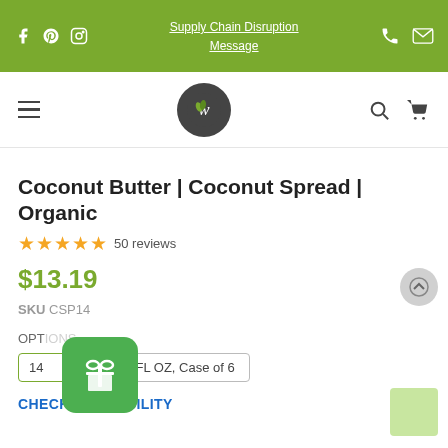Supply Chain Disruption Message
[Figure (logo): Website logo circle with W and leaf icon]
Coconut Butter | Coconut Spread | Organic
50 reviews
$13.19
SKU CSP14
OPTIONS
14 FL OZ, Case of 6
CHECK AVAILABILITY